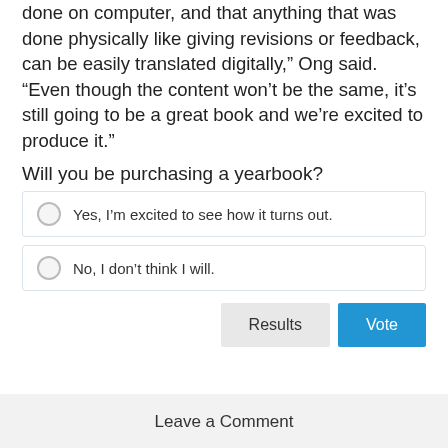done on computer, and that anything that was done physically like giving revisions or feedback, can be easily translated digitally," Ong said. "Even though the content won't be the same, it's still going to be a great book and we're excited to produce it."
Will you be purchasing a yearbook?
Yes, I'm excited to see how it turns out.
No, I don't think I will.
Results  Vote
Leave a Comment